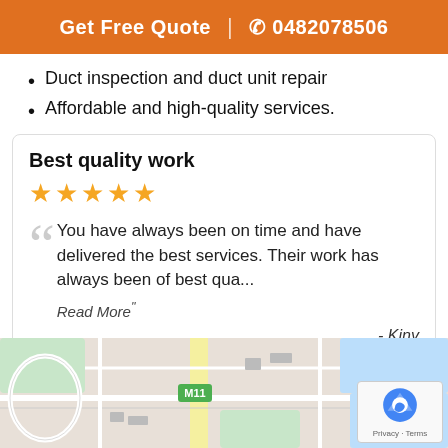Get Free Quote | 0482078506
Duct inspection and duct unit repair
Affordable and high-quality services.
Best quality work
★★★★★
You have always been on time and have delivered the best services. Their work has always been of best qua... Read More" - Kiny
[Figure (map): Google Maps showing road map with M11 motorway and surrounding streets]